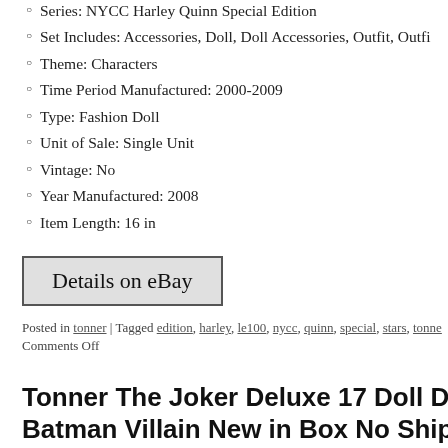Series: NYCC Harley Quinn Special Edition
Set Includes: Accessories, Doll, Doll Accessories, Outfit, Outfi…
Theme: Characters
Time Period Manufactured: 2000-2009
Type: Fashion Doll
Unit of Sale: Single Unit
Vintage: No
Year Manufactured: 2008
Item Length: 16 in
[Figure (other): Details on eBay button]
Posted in tonner | Tagged edition, harley, le100, nycc, quinn, special, stars, tonne… Comments Off
Tonner The Joker Deluxe 17 Doll DC Stars Batman Villain New in Box No Shipper
Posted on December 20, 2021 by admin